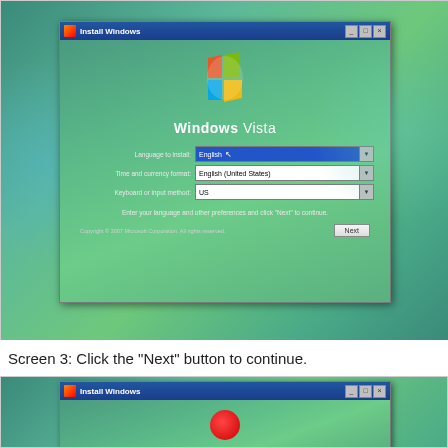[Figure (screenshot): Windows Vista Install Windows dialog box showing language, time/currency, and keyboard settings. Fields show: Language to install: English, Time and currency format: English (United States), Keyboard or input method: US. Bottom shows copyright text and Next button.]
Screen 3: Click the "Next" button to continue.
[Figure (screenshot): Partial view of a second Windows Vista Install Windows dialog box showing only the title bar and the top portion of the window with a loading/progress indicator circle visible.]